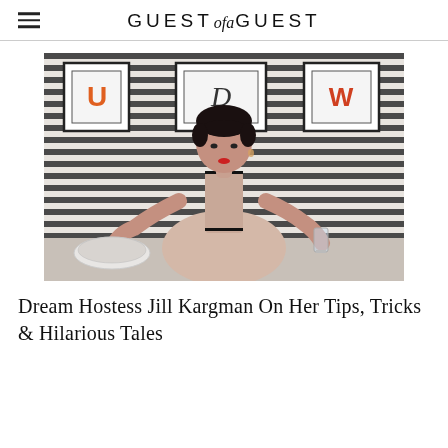GUEST of a GUEST
[Figure (photo): Woman with dark hair in a striped black and white room holding a plate tray and a glass, with framed letter art on the wall behind her.]
Dream Hostess Jill Kargman On Her Tips, Tricks & Hilarious Tales